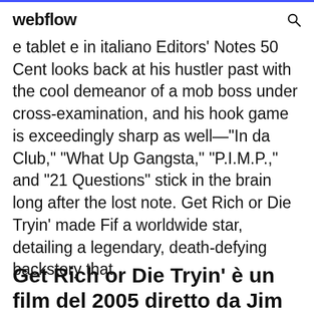webflow
e tablet e in italiano Editors' Notes 50 Cent looks back at his hustler past with the cool demeanor of a mob boss under cross-examination, and his hook game is exceedingly sharp as well—"In da Club," "What Up Gangsta," "P.I.M.P.," and "21 Questions" stick in the brain long after the lost note. Get Rich or Die Tryin' made Fif a worldwide star, detailing a legendary, death-defying backstory that
Get Rich or Die Tryin' è un film del 2005 diretto da Jim